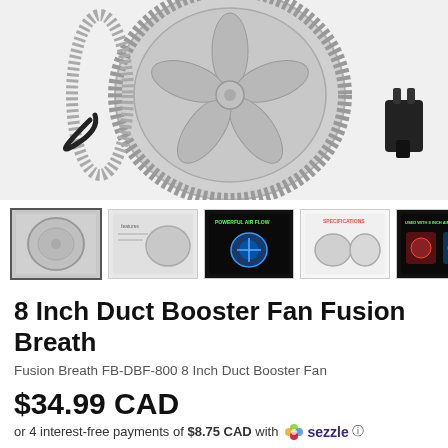[Figure (photo): Close-up photo of a silver/chrome 8-inch duct booster fan showing the fan blades, ribbed circular housing, mounting ring, and a black power cord/plug on the right side. White background.]
[Figure (photo): Row of 5 thumbnail images of the duct booster fan: 1st selected showing front view, 2nd showing features text, 3rd dark background with blue airflow graphic, 4th showing specifications diagram, 5th dark background with red/blue airflow illustration.]
8 Inch Duct Booster Fan Fusion Breath
Fusion Breath FB-DBF-800 8 Inch Duct Booster Fan
$34.99 CAD
or 4 interest-free payments of $8.75 CAD with Sezzle